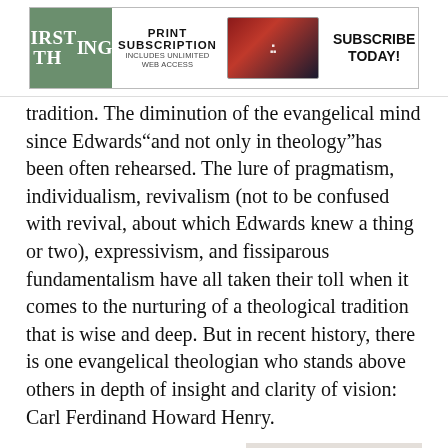[Figure (other): First Things magazine advertisement banner showing logo, 'PRINT SUBSCRIPTION INCLUDES UNLIMITED WEB ACCESS' text, magazine images, and 'SUBSCRIBE TODAY!' call to action]
tradition. The diminution of the evangelical mind since Edwards“and not only in theology”has been often rehearsed. The lure of pragmatism, individualism, revivalism (not to be confused with revival, about which Edwards knew a thing or two), expressivism, and fissiparous fundamentalism have all taken their toll when it comes to the nurturing of a theological tradition that is wise and deep. But in recent history, there is one evangelical theologian who stands above others in depth of insight and clarity of vision: Carl Ferdinand Howard Henry.
Born in New York City in 1913, Henry came of
Timothy George